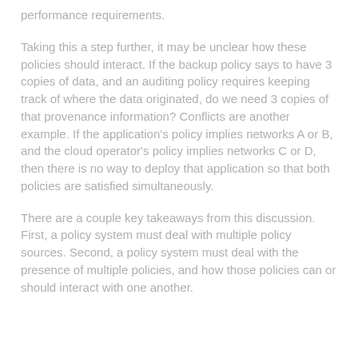performance requirements.
Taking this a step further, it may be unclear how these policies should interact. If the backup policy says to have 3 copies of data, and an auditing policy requires keeping track of where the data originated, do we need 3 copies of that provenance information? Conflicts are another example. If the application’s policy implies networks A or B, and the cloud operator’s policy implies networks C or D, then there is no way to deploy that application so that both policies are satisfied simultaneously.
There are a couple key takeaways from this discussion. First, a policy system must deal with multiple policy sources. Second, a policy system must deal with the presence of multiple policies, and how those policies can or should interact with one another.